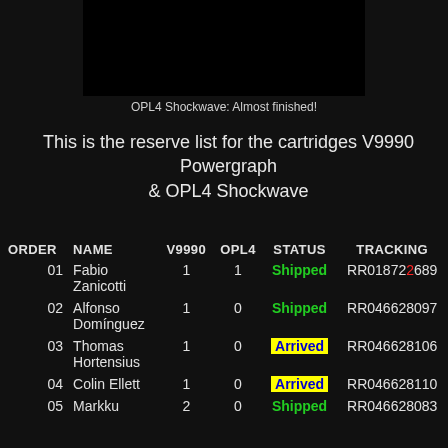[Figure (screenshot): Black rectangle image area representing a screenshot of OPL4 Shockwave cartridge (almost finished)]
OPL4 Shockwave: Almost finished!
This is the reserve list for the cartridges V9990 Powergraph & OPL4 Shockwave
| ORDER | NAME | V9990 | OPL4 | STATUS | TRACKING |
| --- | --- | --- | --- | --- | --- |
| 01 | Fabio Zanicotti | 1 | 1 | Shipped | RR018722689 |
| 02 | Alfonso Domínguez | 1 | 0 | Shipped | RR046628097 |
| 03 | Thomas Hortensius | 1 | 0 | Arrived | RR046628106 |
| 04 | Colin Ellett | 1 | 0 | Arrived | RR046628110 |
| 05 | Markku | 2 | 0 | Shipped | RR046628083 |